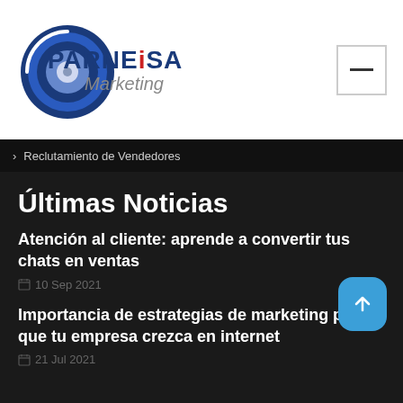[Figure (logo): Parneisa Marketing logo with blue circular icon and company name text]
> Reclutamiento de Vendedores
Últimas Noticias
Atención al cliente: aprende a convertir tus chats en ventas
10 Sep 2021
Importancia de estrategias de marketing para que tu empresa crezca en internet
21 Jul 2021